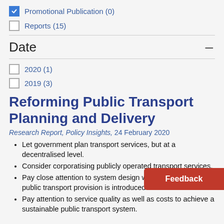Promotional Publication (0)
Reports (15)
Date
2020 (1)
2019 (3)
Reforming Public Transport Planning and Delivery
Research Report, Policy Insights, 24 February 2020
Let government plan transport services, but at a decentralised level.
Consider corporatising publicly operated transport services.
Pay close attention to system design when competition in public transport provision is introduced.
Pay attention to service quality as well as costs to achieve a sustainable public transport system.